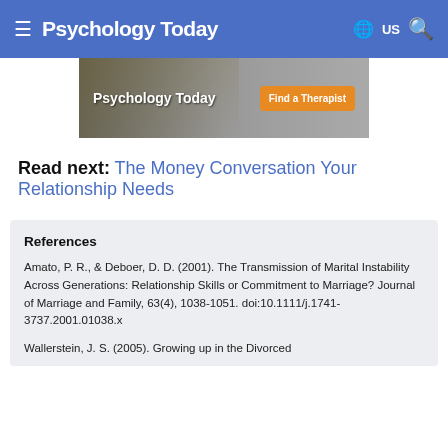Psychology Today | US
[Figure (other): Psychology Today advertisement banner with 'Find a Therapist' button]
Read next: The Money Conversation Your Relationship Needs
References
Amato, P. R., & Deboer, D. D. (2001). The Transmission of Marital Instability Across Generations: Relationship Skills or Commitment to Marriage? Journal of Marriage and Family, 63(4), 1038-1051. doi:10.1111/j.1741-3737.2001.01038.x
Wallerstein, J. S. (2005). Growing up in the Divorced